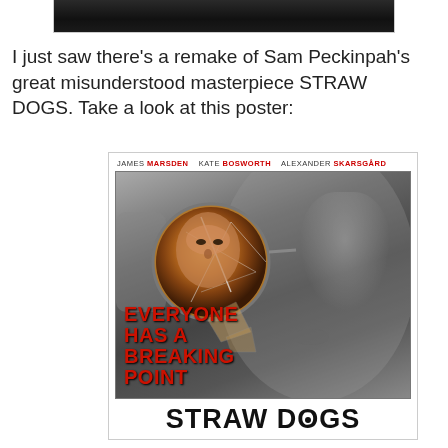[Figure (photo): Partial photo at top of page, cropped image of a person's face, dark/shadowy]
I just saw there’s a remake of Sam Peckinpah’s great misunderstood masterpiece STRAW DOGS. Take a look at this poster:
[Figure (photo): Movie poster for Straw Dogs remake. Credits: JAMES MARSDEN, KATE BOSWORTH, ALEXANDER SKARSGÅRD. Large close-up face in black and white with cracked glasses showing a reflection of a man's face in amber tones. Tagline: EVERYONE HAS A BREAKING POINT. Title: STRAW DOGS at bottom.]